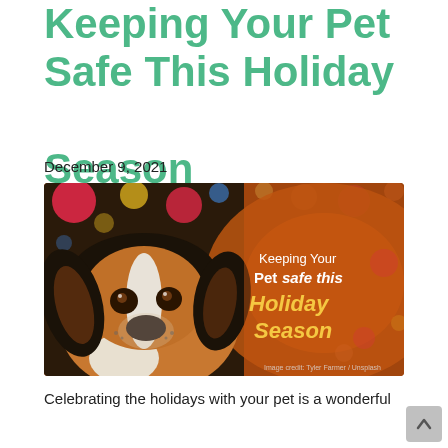Keeping Your Pet Safe This Holiday Season
December 9, 2021
[Figure (photo): A beagle puppy looking at the camera with bokeh Christmas lights in the background. Right side shows text overlay on orange/amber background: 'Keeping Your Pet safe this Holiday Season'. Image credit: Tyler Farmer / Unsplash]
Celebrating the holidays with your pet is a wonderful